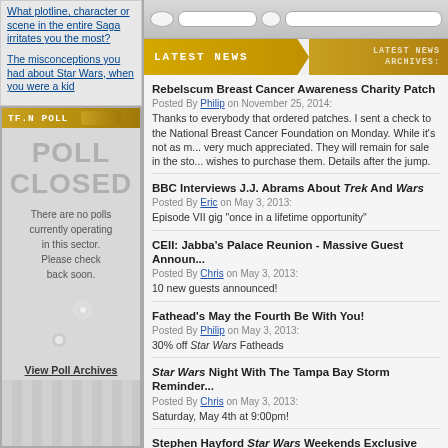What plotline, character or scene in the entire Saga irritates you the most?
The misconceptions you had about Star Wars, when you were a kid
TF.N POLL
POLL CLOSED
There are no polls currently operating in this sector. Please check back soon.
View Poll Archives
LATEST NEWS
LATEST NEWS ARCHIVES:
Rebelscum Breast Cancer Awareness Charity Patch
Posted By Philip on November 25, 2014:
Thanks to everybody that ordered patches. I sent a check to the National Breast Cancer Foundation on Monday. While it's not as much as I hoped, it's very much appreciated. They will remain for sale in the store for anybody that wishes to purchase them. Details after the jump.
BBC Interviews J.J. Abrams About Trek And Wars
Posted By Eric on May 3, 2013:
Episode VII gig "once in a lifetime opportunity"
CEII: Jabba's Palace Reunion - Massive Guest Announcement
Posted By Chris on May 3, 2013:
10 new guests announced!
Fathead's May the Fourth Be With You!
Posted By Philip on May 3, 2013:
30% off Star Wars Fatheads
Star Wars Night With The Tampa Bay Storm Reminder
Posted By Chris on May 3, 2013:
Saturday, May 4th at 9:00pm!
Stephen Hayford Star Wars Weekends Exclusive Art
Posted By Chris on May 3, 2013:
Hunt down all four prints!
ForceCast #251: To Spoil or Not to Spoil